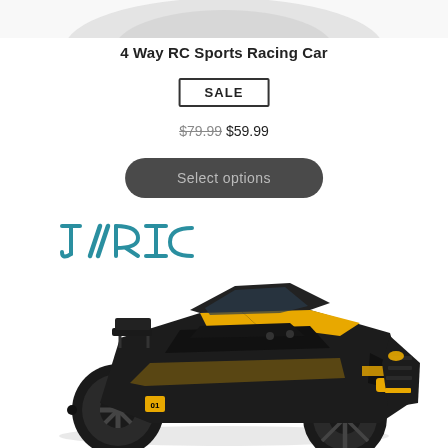[Figure (photo): Partial view of a toy car from above (top of image, cropped)]
4 Way RC Sports Racing Car
SALE
$79.99 $59.99
Select options
[Figure (photo): JJRC branded black and yellow RC off-road monster truck toy car on white background]